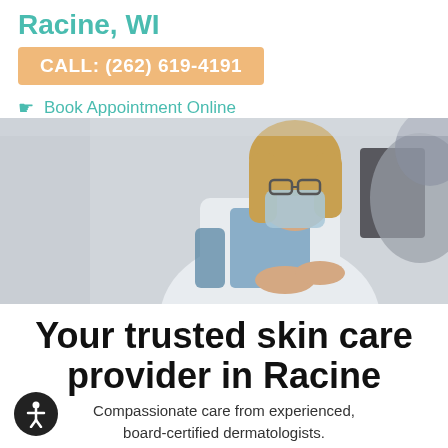Racine, WI
CALL: (262) 619-4191
Book Appointment Online
[Figure (photo): A female dermatologist or healthcare provider wearing a white coat and medical mask, glasses, sitting and gesturing with hands near a computer monitor, consulting with a patient whose back is visible in the foreground.]
Your trusted skin care provider in Racine
Compassionate care from experienced, board-certified dermatologists.